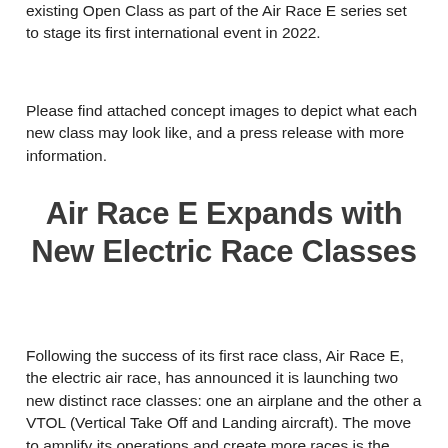existing Open Class as part of the Air Race E series set to stage its first international event in 2022.
Please find attached concept images to depict what each new class may look like, and a press release with more information.
Air Race E Expands with New Electric Race Classes
Following the success of its first race class, Air Race E, the electric air race, has announced it is launching two new distinct race classes: one an airplane and the other a VTOL (Vertical Take Off and Landing aircraft). The move to amplify its operations and create more races is the direct result of high